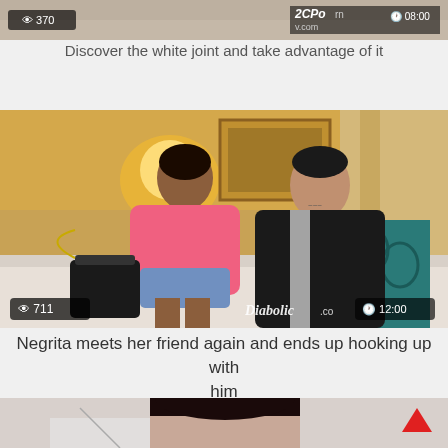[Figure (screenshot): Top portion of a video thumbnail with view count badge showing 370 and site label 2CPorn with duration 08:00]
Discover the white joint and take advantage of it
[Figure (photo): A man and woman sitting on a couch together in a living room. The woman wears a pink shirt and denim shorts. The man wears a black leather jacket. A handbag and teal patterned pillow visible. Diabolic.com watermark with view count 711 and duration 12:00.]
Negrita meets her friend again and ends up hooking up with him
[Figure (photo): Partial view of a third video thumbnail showing a woman with dark hair and bangs looking down]